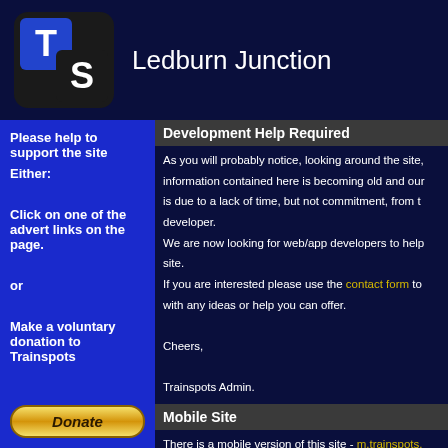[Figure (logo): Trainspots TS logo — dark rounded rectangle with blue T tile and dark S tile]
Ledburn Junction
Please help to support the site

Either:

Click on one of the advert links on the page.

or

Make a voluntary donation to Trainspots
[Figure (illustration): PayPal Donate button — gold gradient rounded rectangle with italic bold 'Donate' text]
Development Help Required
As you will probably notice, looking around the site, information contained here is becoming old and out of date. This is due to a lack of time, but not commitment, from the developer.
We are now looking for web/app developers to help maintain the site.
If you are interested please use the contact form to get in touch with any ideas or help you can offer.

Cheers,

Trainspots Admin.
Mobile Site
There is a mobile version of this site - m.trainspots. It will use your smart device's GPS to loctate you and